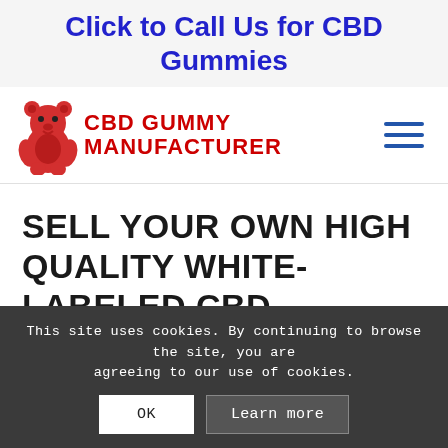Click to Call Us for CBD Gummies
[Figure (logo): Red gummy bear logo with text CBD GUMMY MANUFACTURER in red bold letters, and a hamburger menu icon on the right]
SELL YOUR OWN HIGH QUALITY WHITE-LABELED CBD GUMMIES
This site uses cookies. By continuing to browse the site, you are agreeing to our use of cookies.